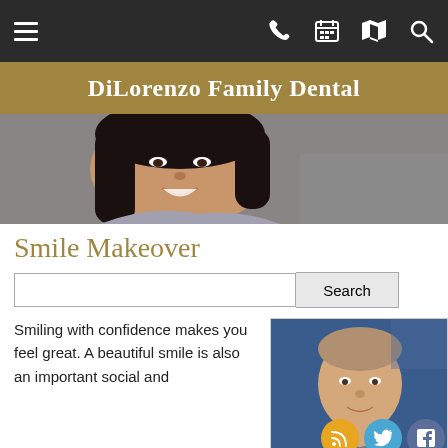DiLorenzo Family Dental — navigation bar with hamburger menu, phone, calendar, map, and search icons
DiLorenzo Family Dental
[Figure (photo): Smiling dark-haired woman in a hero banner photo]
Smile Makeover
[Figure (screenshot): Search input field with Search button]
Smiling with confidence makes you feel great. A beautiful smile is also an important social and
[Figure (photo): Headshot of a smiling man with short hair against a blue background, with social media icons (RSS, Twitter, Facebook) overlaid at bottom right]